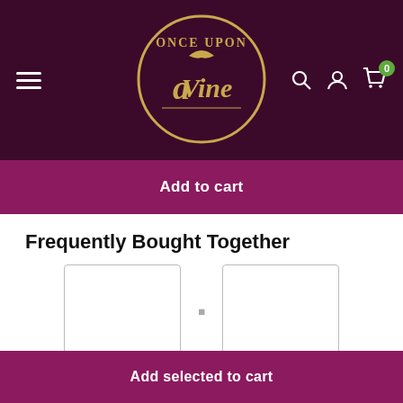[Figure (logo): Once Upon a Vine logo — circular gold border with golden text and decorative wine-themed illustration on dark maroon background]
Add to cart
Frequently Bought Together
Total price: $242.00  $249.00
Add selected to cart